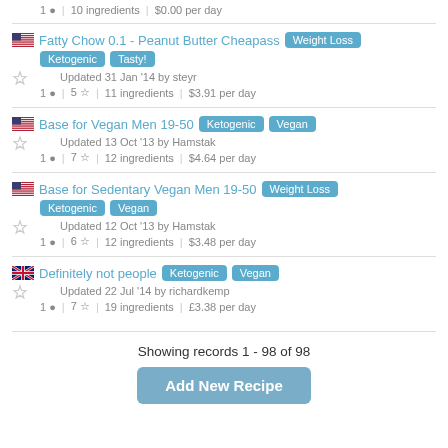1 comment | 10 ingredients | $0.00 per day
Fatty Chow 0.1 - Peanut Butter Cheapass | Weight Loss | Ketogenic | Tasty! | Updated 31 Jan '14 by steyr | 1 comment | 5 stars | 11 ingredients | $3.91 per day
Base for Vegan Men 19-50 | Ketogenic | Vegan | Updated 13 Oct '13 by Hamstak | 1 comment | 7 stars | 12 ingredients | $4.64 per day
Base for Sedentary Vegan Men 19-50 | Weight Loss | Ketogenic | Vegan | Updated 12 Oct '13 by Hamstak | 1 comment | 6 stars | 12 ingredients | $3.48 per day
Definitely not people | Ketogenic | Vegan | Updated 22 Jul '14 by richardkemp | 1 comment | 7 stars | 19 ingredients | £3.38 per day
Showing records 1 - 98 of 98
Add New Recipe